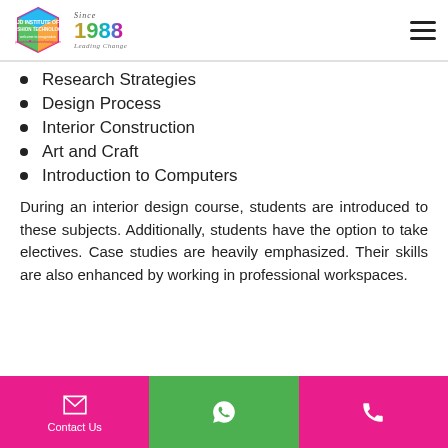JD Institute of Fashion Technology | Since 1988 | Leading Change
Research Strategies
Design Process
Interior Construction
Art and Craft
Introduction to Computers
During an interior design course, students are introduced to these subjects. Additionally, students have the option to take electives. Case studies are heavily emphasized. Their skills are also enhanced by working in professional workspaces.
Contact Us | WhatsApp | Phone